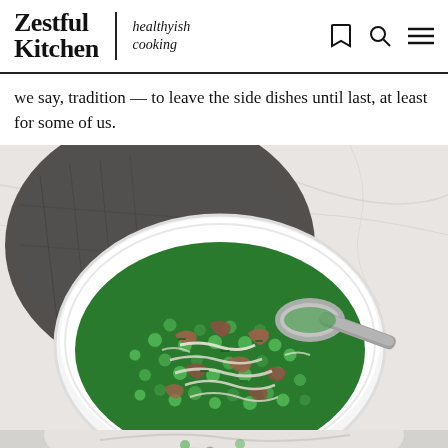Zestful Kitchen | healthyish cooking
we say, tradition — to leave the side dishes until last, at least for some of us.
[Figure (photo): Overhead view of a white bowl filled with green peas, chopped bacon or prosciutto, shredded vegetables, and herbs, with a metal spoon resting in the bowl. A dark grey linen napkin is visible in the background on a white marble surface. The bottom portion shows a continuation of the dish.]